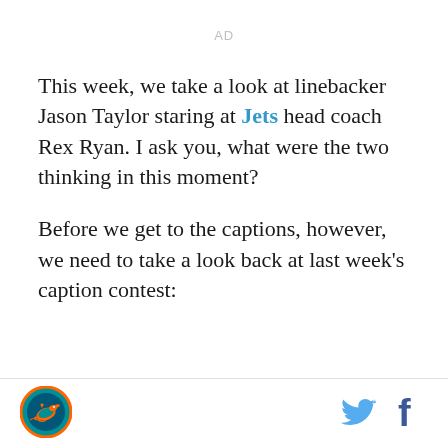AD
This week, we take a look at linebacker Jason Taylor staring at Jets head coach Rex Ryan. I ask you, what were the two thinking in this moment?
Before we get to the captions, however, we need to take a look back at last week's caption contest:
[Figure (logo): Miami Dolphins circular logo with dolphin and orange/teal colors]
[Figure (logo): Twitter bird icon in blue]
[Figure (logo): Facebook 'f' icon in dark blue]